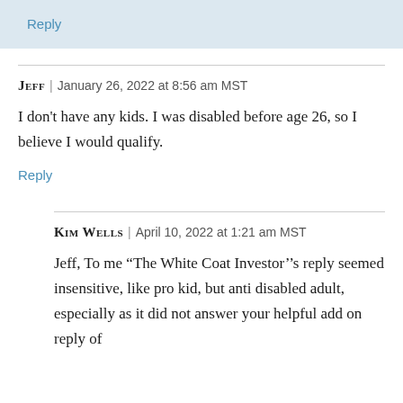Reply
JEFF | January 26, 2022 at 8:56 am MST
I don't have any kids. I was disabled before age 26, so I believe I would qualify.
Reply
KIM WELLS | April 10, 2022 at 1:21 am MST
Jeff, To me “The White Coat Investor’’s reply seemed insensitive, like pro kid, but anti disabled adult, especially as it did not answer your helpful add on reply of